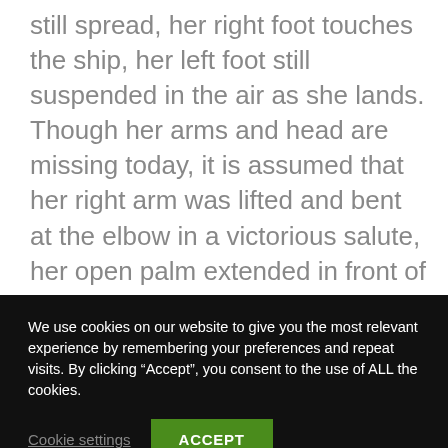still spread, her right foot touches the ship, her left foot still suspended in the air as she lands. Though her arms and head are missing today, it is assumed that her right arm was lifted and bent at the elbow in a victorious salute, her open palm extended in front of her. The sculptor successfully captured in stone the moment when the billowing drapery is pressed against her body in a gust of wind; moment when motion and stillness meet. The statue is not
We use cookies on our website to give you the most relevant experience by remembering your preferences and repeat visits. By clicking “Accept”, you consent to the use of ALL the cookies.
Cookie settings
ACCEPT